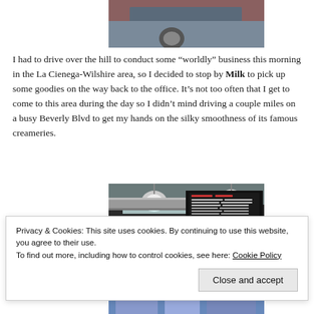[Figure (photo): Partial photo of a building exterior, top portion visible]
I had to drive over the hill to conduct some “worldly” business this morning in the La Cienega-Wilshire area, so I decided to stop by Milk to pick up some goodies on the way back to the office. It’s not too often that I get to come to this area during the day so I didn’t mind driving a couple miles on a busy Beverly Blvd to get my hands on the silky smoothness of its famous creameries.
[Figure (photo): Interior photo of a shop with a dark menu board and hanging lights]
Privacy & Cookies: This site uses cookies. By continuing to use this website, you agree to their use.
To find out more, including how to control cookies, see here: Cookie Policy
[Figure (photo): Bottom portion of another photo, partially visible]